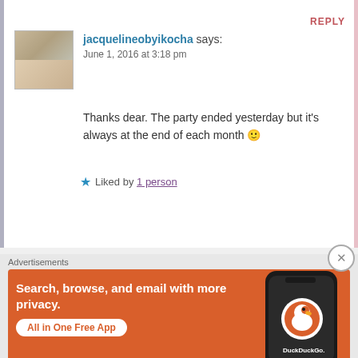REPLY
jacquelineobyikocha says:
June 1, 2016 at 3:18 pm
Thanks dear. The party ended yesterday but it's always at the end of each month 🙂
★ Liked by 1 person
[Figure (screenshot): DuckDuckGo advertisement banner with orange background showing phone and text: Search, browse, and email with more privacy. All in One Free App.]